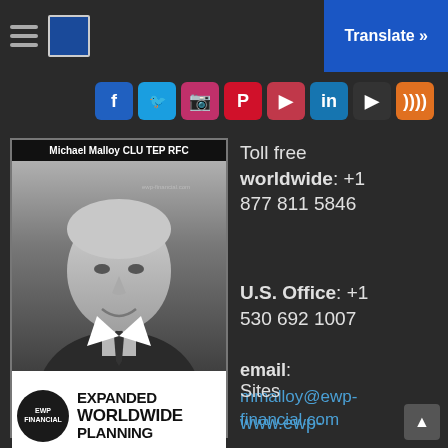Translate »
[Figure (screenshot): Row of social media icons: Facebook, Twitter, Instagram, Pinterest, Flipboard, LinkedIn, YouTube, RSS]
[Figure (photo): Black and white professional headshot of Michael Malloy CLU TEP RFC with EWP Financial - Expanded Worldwide Planning logo below]
Toll free worldwide: +1 877 811 5846
U.S. Office: +1 530 692 1007
email: mmalloy@ewp-financial.com
Sites
www.ewp-